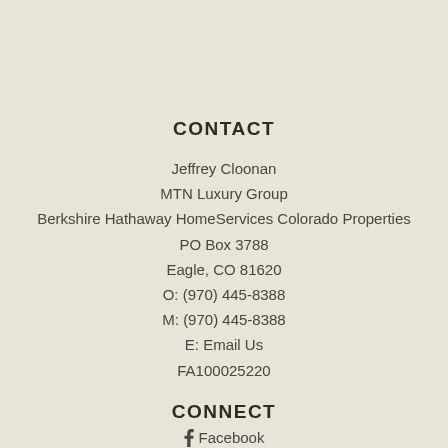CONTACT
Jeffrey Cloonan
MTN Luxury Group
Berkshire Hathaway HomeServices Colorado Properties
PO Box 3788
Eagle, CO 81620
O: (970) 445-8388
M: (970) 445-8388
E: Email Us
FA100025220
CONNECT
Facebook
[Figure (illustration): Accessibility icon: person in wheelchair inside a black circle]